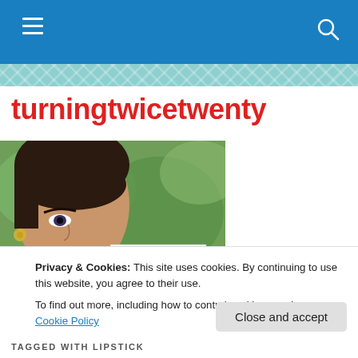turningtwicetwenty
turningtwicetwenty
[Figure (illustration): Vintage-style illustration of a dark-haired woman looking sideways, with green foliage background. Text overlays read 'she could' and 'see'.]
Privacy & Cookies: This site uses cookies. By continuing to use this website, you agree to their use.
To find out more, including how to control cookies, see here: Cookie Policy
Close and accept
TAGGED WITH LIPSTICK